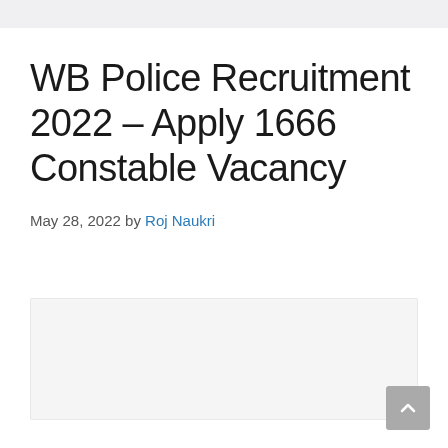WB Police Recruitment 2022 – Apply 1666 Constable Vacancy
May 28, 2022 by Roj Naukri
[Figure (other): Content placeholder image area]